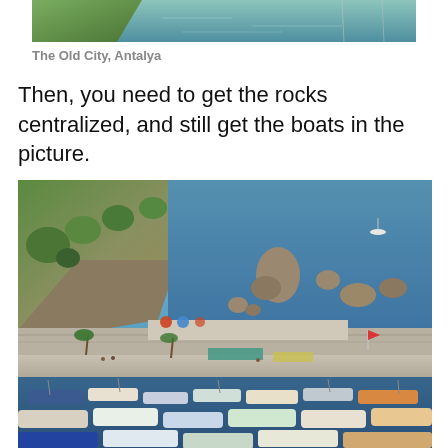[Figure (photo): Partial view of the Old City Antalya waterfront with blue sea and green vegetation at top edge]
The Old City, Antalya
Then, you need to get the rocks centralized, and still get the boats in the picture.
[Figure (photo): Harbour view of Antalya showing rocky coastline, blue sea, harbor wall, boats moored in the marina, beach area with umbrellas, and lush hillside vegetation]